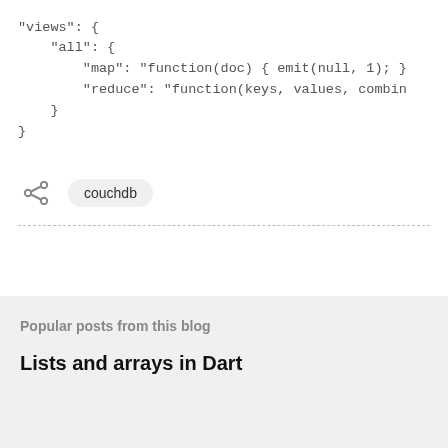"views": {
    "all": {
        "map": "function(doc) { emit(null, 1); }
        "reduce": "function(keys, values, combin
    }
}
[Figure (other): Share icon (less-than symbol style social share button)]
couchdb
Popular posts from this blog
Lists and arrays in Dart